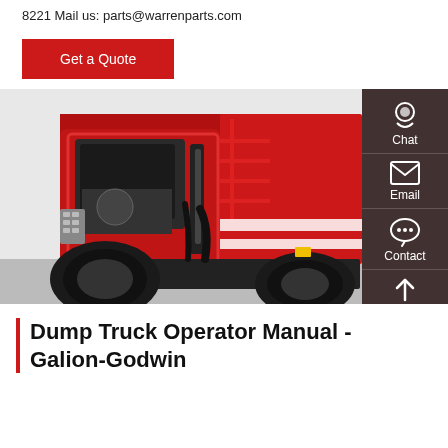8221 Mail us: parts@warrenparts.com
Get a Quote
[Figure (photo): Red dump truck with open cab door showing interior, hydraulic components and red painted frame/body, with a sidebar panel overlay on the right showing Chat, Email, Contact, and Top navigation icons]
Dump Truck Operator Manual - Galion-Godwin